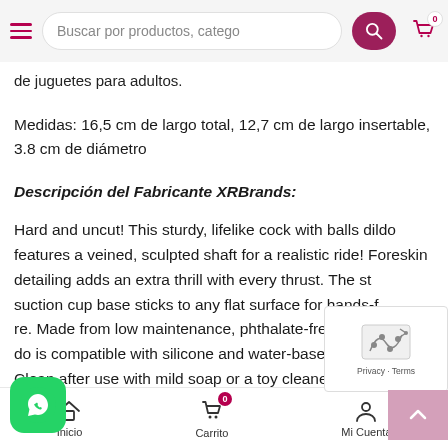Buscar por productos, catego
de juguetes para adultos.
Medidas: 16,5 cm de largo total, 12,7 cm de largo insertable, 3.8 cm de diámetro
Descripción del Fabricante XRBrands:
Hard and uncut! This sturdy, lifelike cock with balls dildo features a veined, sculpted shaft for a realistic ride! Foreskin detailing adds an extra thrill with every thrust. The st... suction cup base sticks to any flat surface for hands-f... re. Made from low maintenance, phthalate-free PVC, ...do is compatible with silicone and water-based lubricants. Clean after use with mild soap or a toy cleaner.
Inicio | Carrito | Mi Cuenta